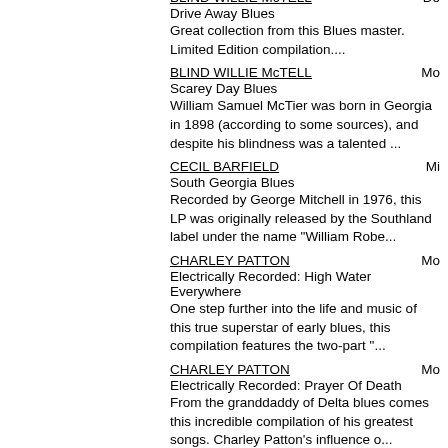BLIND WILLIE McTELL | Do... | Drive Away Blues | Great collection from this Blues master. Limited Edition compilation....
BLIND WILLIE McTELL | Mo... | Scarey Day Blues | William Samuel McTier was born in Georgia in 1898 (according to some sources), and despite his blindness was a talented ...
CECIL BARFIELD | Mi... | South Georgia Blues | Recorded by George Mitchell in 1976, this LP was originally released by the Southland label under the name "William Robe...
CHARLEY PATTON | Mo... | Electrically Recorded: High Water Everywhere | One step further into the life and music of this true superstar of early blues, this compilation features the two-part "...
CHARLEY PATTON | Mo... | Electrically Recorded: Prayer Of Death | From the granddaddy of Delta blues comes this incredible compilation of his greatest songs. Charley Patton's influence o...